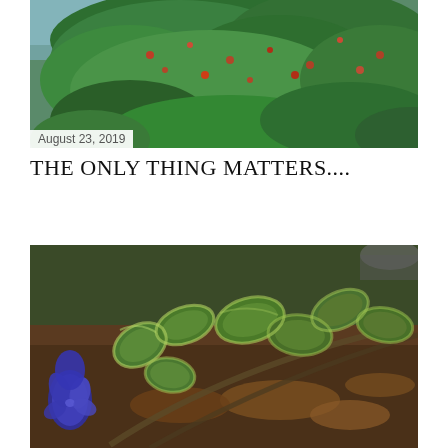[Figure (photo): Lush green bushes and trees with red berries near a body of water, photographed outdoors]
August 23, 2019
THE ONLY THING MATTERS....
Share
[Figure (photo): Close-up of green variegated leaves on a plant with a blue flower (butterfly pea or similar) visible at left, on a forest floor with dry leaves]